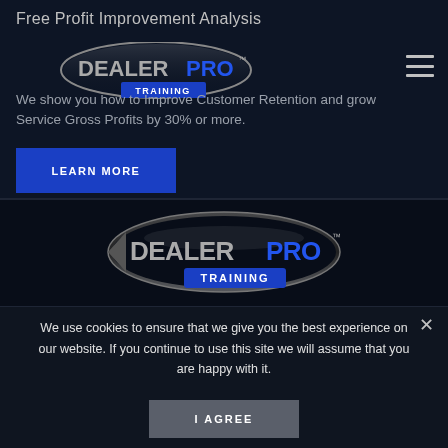Free Profit Improvement Analysis
[Figure (logo): DealerPro Training logo in header, oval shape with DEALER in gray and PRO in blue, TRAINING in blue banner below]
We show you how to Improve Customer Retention and grow Service Gross Profits by 30% or more.
[Figure (other): LEARN MORE button - blue rectangle with white text]
[Figure (logo): DealerPro Training logo centered, large oval shape with DEALER in gray and PRO in blue, TRAINING in blue banner below]
We use cookies to ensure that we give you the best experience on our website. If you continue to use this site we will assume that you are happy with it.
[Figure (other): I AGREE button - gray rectangle with white text]